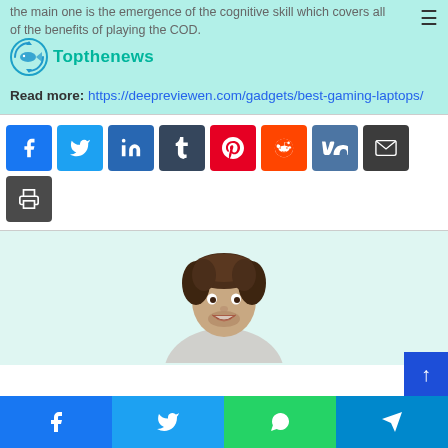Topthenews
the main one is the emergence of the cognitive skill which covers all of the benefits of playing the COD.
Read more: https://deepreviewen.com/gadgets/best-gaming-laptops/
[Figure (infographic): Social media share buttons: Facebook, Twitter, LinkedIn, Tumblr, Pinterest, Reddit, VK, Email, Print]
[Figure (photo): Photo of a smiling young man with curly dark hair, wearing a light grey shirt, on a light teal/mint background]
[Figure (infographic): Bottom sharing bar with Facebook, Twitter, WhatsApp, and Telegram buttons]